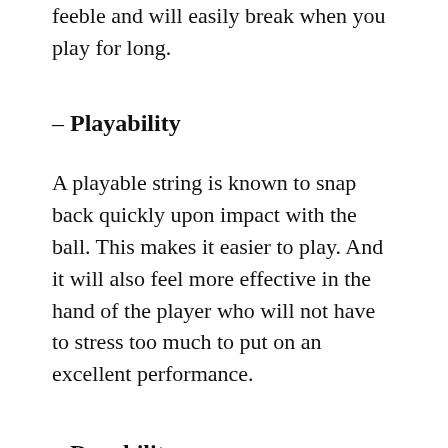feeble and will easily break when you play for long.
– Playability
A playable string is known to snap back quickly upon impact with the ball. This makes it easier to play. And it will also feel more effective in the hand of the player who will not have to stress too much to put on an excellent performance.
– Durability